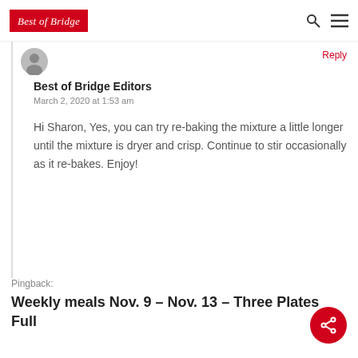Best of Bridge
Best of Bridge Editors
March 2, 2020 at 1:53 am
Hi Sharon, Yes, you can try re-baking the mixture a little longer until the mixture is dryer and crisp. Continue to stir occasionally as it re-bakes. Enjoy!
Pingback:
Weekly meals Nov. 9 – Nov. 13 – Three Plates Full